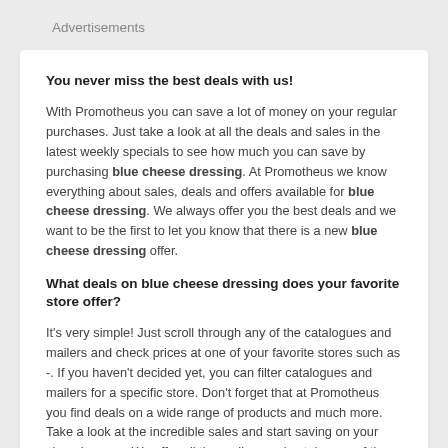Advertisements
You never miss the best deals with us!
With Promotheus you can save a lot of money on your regular purchases. Just take a look at all the deals and sales in the latest weekly specials to see how much you can save by purchasing blue cheese dressing. At Promotheus we know everything about sales, deals and offers available for blue cheese dressing. We always offer you the best deals and we want to be the first to let you know that there is a new blue cheese dressing offer.
What deals on blue cheese dressing does your favorite store offer?
It's very simple! Just scroll through any of the catalogues and mailers and check prices at one of your favorite stores such as -. If you haven't decided yet, you can filter catalogues and mailers for a specific store. Don't forget that at Promotheus you find deals on a wide range of products and much more. Take a look at the incredible sales and start saving on your shopping now. We offer all the mailers and catalogues of the main stores in New Zealand so that you can find all your favorite stores in one place. Find all